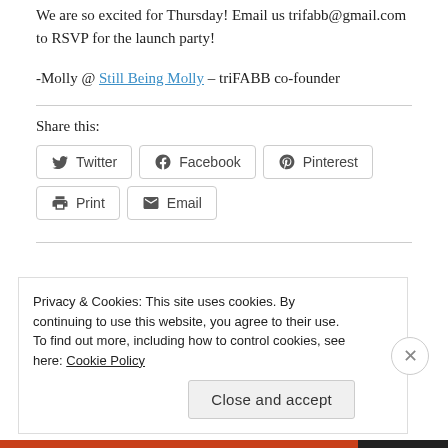We are so excited for Thursday! Email us trifabb@gmail.com to RSVP for the launch party!
-Molly @ Still Being Molly – triFABB co-founder
Share this:
Twitter  Facebook  Pinterest  Print  Email
Privacy & Cookies: This site uses cookies. By continuing to use this website, you agree to their use. To find out more, including how to control cookies, see here: Cookie Policy
Close and accept